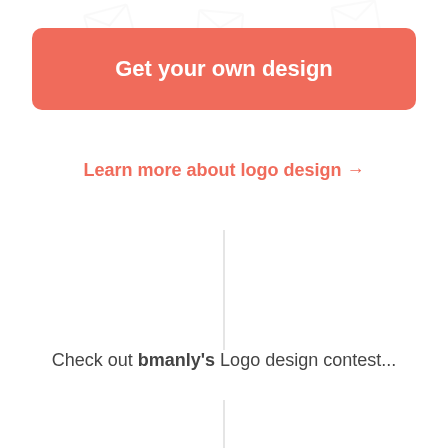[Figure (illustration): Light watermark envelope icons in gray at the top of the page]
Get your own design
Learn more about logo design →
Check out bmanly's Logo design contest...